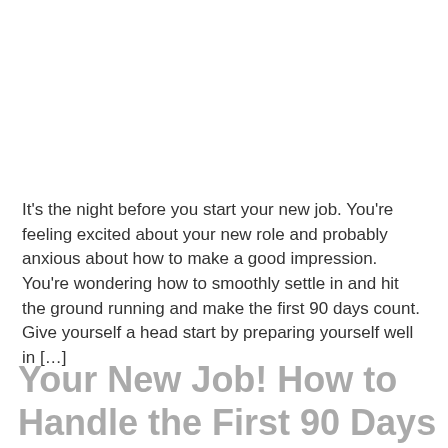It's the night before you start your new job. You're feeling excited about your new role and probably anxious about how to make a good impression. You're wondering how to smoothly settle in and hit the ground running and make the first 90 days count. Give yourself a head start by preparing yourself well in […]
Your New Job! How to Handle the First 90 Days